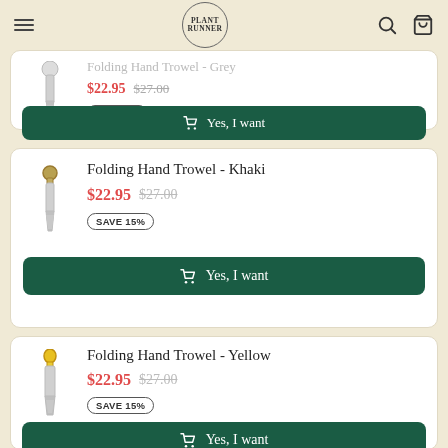Plant Runner - navigation header
[Figure (photo): Folding Hand Trowel Grey product image (partially visible at top)]
Folding Hand Trowel - Grey
$22.95 $27.00
SAVE 15%
Yes, I want
[Figure (photo): Folding Hand Trowel Khaki product image]
Folding Hand Trowel - Khaki
$22.95 $27.00
SAVE 15%
Yes, I want
[Figure (photo): Folding Hand Trowel Yellow product image]
Folding Hand Trowel - Yellow
$22.95 $27.00
SAVE 15%
Yes, I want